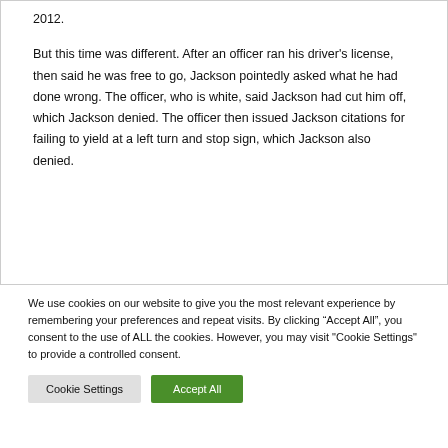2012.
But this time was different. After an officer ran his driver's license, then said he was free to go, Jackson pointedly asked what he had done wrong. The officer, who is white, said Jackson had cut him off, which Jackson denied. The officer then issued Jackson citations for failing to yield at a left turn and stop sign, which Jackson also denied.
We use cookies on our website to give you the most relevant experience by remembering your preferences and repeat visits. By clicking "Accept All", you consent to the use of ALL the cookies. However, you may visit "Cookie Settings" to provide a controlled consent.